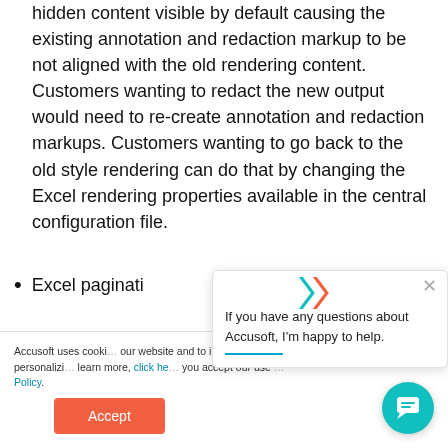hidden content visible by default causing the existing annotation and redaction markup to be not aligned with the old rendering content. Customers wanting to redact the new output would need to re-create annotation and redaction markups. Customers wanting to go back to the old style rendering can do that by changing the Excel rendering properties available in the central configuration file.
Excel paginated [partially obscured by overlay]
Accusoft uses cookies to enhance your experience on our website and to improve performance. This includes personalizing content and advertising. To learn more, click here. By continuing to use this site you accept our use of cookies as described in our Privacy Policy.
If you have any questions about Accusoft, I'm happy to help.